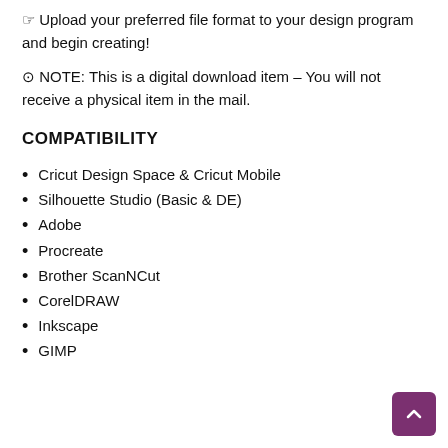☞ Upload your preferred file format to your design program and begin creating!
⊙ NOTE: This is a digital download item – You will not receive a physical item in the mail.
COMPATIBILITY
Cricut Design Space & Cricut Mobile
Silhouette Studio (Basic & DE)
Adobe
Procreate
Brother ScanNCut
CorelDRAW
Inkscape
GIMP